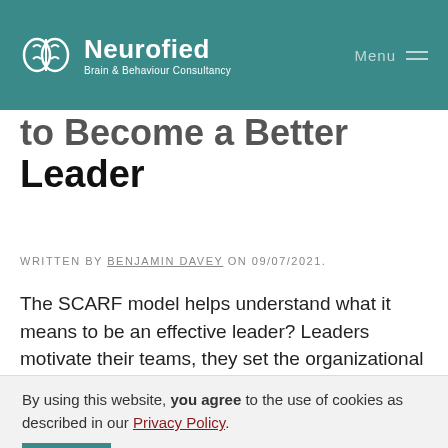Neurofied Brain & Behaviour Consultancy | Menu
to Become a Better Leader
WRITTEN BY BENJAMIN DAVEY ON 09/07/2021.
The SCARF model helps understand what it means to be an effective leader? Leaders motivate their teams, they set the organizational culture, and
By using this website, you agree to the use of cookies as described in our Privacy Policy.
employees, managing an intern's expectations, or